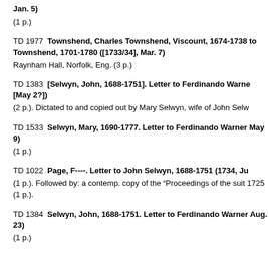Jan. 5)
(1 p.)
TD 1977  Townshend, Charles Townshend, Viscount, 1674-1738 to Townshend, 1701-1780 ([1733/34], Mar. 7)
Raynham Hall, Norfolk, Eng. (3 p.)
TD 1383  [Selwyn, John, 1688-1751]. Letter to Ferdinando Warne [May 2?])
(2 p.). Dictated to and copied out by Mary Selwyn, wife of John Selw
TD 1533  Selwyn, Mary, 1690-1777. Letter to Ferdinando Warner May 9)
(1 p.)
TD 1022  Page, F----. Letter to John Selwyn, 1688-1751 (1734, Ju
(1 p.). Followed by: a contemp. copy of the "Proceedings of the suit 1725 (1 p.).
TD 1384  Selwyn, John, 1688-1751. Letter to Ferdinando Warner Aug. 23)
(1 p.)